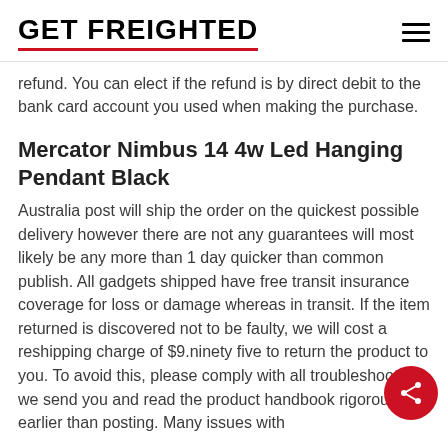GET FREIGHTED
refund. You can elect if the refund is by direct debit to the bank card account you used when making the purchase.
Mercator Nimbus 14 4w Led Hanging Pendant Black
Australia post will ship the order on the quickest possible delivery however there are not any guarantees will most likely be any more than 1 day quicker than common publish. All gadgets shipped have free transit insurance coverage for loss or damage whereas in transit. If the item returned is discovered not to be faulty, we will cost a reshipping charge of $9.ninety five to return the product to you. To avoid this, please comply with all troubleshooting we send you and read the product handbook rigorously earlier than posting. Many issues with